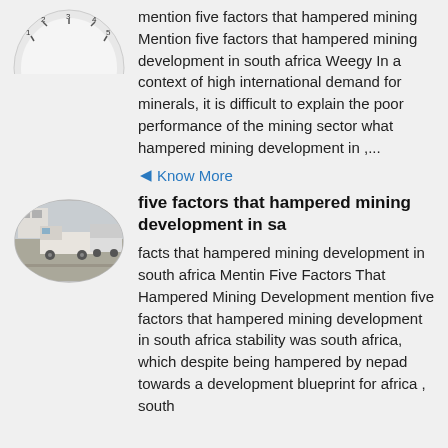[Figure (photo): Partial oval/circular image (top cropped) of a gauge or meter]
mention five factors that hampered mining Mention five factors that hampered mining development in south africa Weegy In a context of high international demand for minerals, it is difficult to explain the poor performance of the mining sector what hampered mining development in ,...
Know More
[Figure (photo): Oval-framed photo of heavy mining trucks/vehicles on a road]
five factors that hampered mining development in sa
facts that hampered mining development in south africa Mentin Five Factors That Hampered Mining Development mention five factors that hampered mining development in south africa stability was south africa, which despite being hampered by nepad towards a development blueprint for africa , south